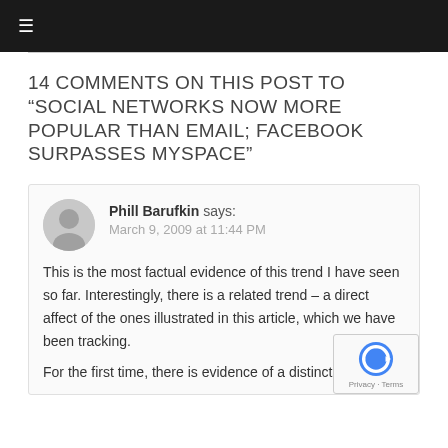≡
14 COMMENTS ON THIS POST TO “SOCIAL NETWORKS NOW MORE POPULAR THAN EMAIL; FACEBOOK SURPASSES MYSPACE”
Phill Barufkin says:
March 9, 2009 at 11:44 PM

This is the most factual evidence of this trend I have seen so far. Interestingly, there is a related trend – a direct affect of the ones illustrated in this article, which we have been tracking.

For the first time, there is evidence of a distinction